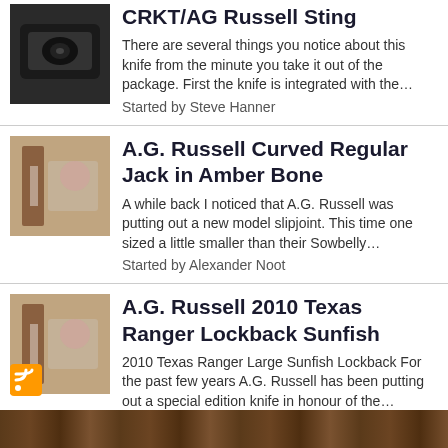CRKT/AG Russell Sting
There are several things you notice about this knife from the minute you take it out of the package. First the knife is integrated with the…
Started by Steve Hanner
A.G. Russell Curved Regular Jack in Amber Bone
A while back I noticed that A.G. Russell was putting out a new model slipjoint. This time one sized a little smaller than their Sowbelly…
Started by Alexander Noot
A.G. Russell 2010 Texas Ranger Lockback Sunfish
2010 Texas Ranger Large Sunfish Lockback For the past few years A.G. Russell has been putting out a special edition knife in honour of the…
Started by Alexander Noot
[Figure (logo): RSS feed icon]